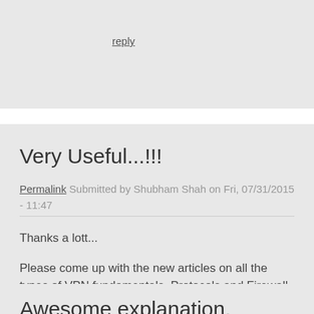reply
Very Useful...!!!
Permalink Submitted by Shubham Shah on Fri, 07/31/2015 - 11:47
Thanks a lott...
Please come up with the new articles on all the types of VPN fundamentals, Protocols and Firewall fundamentals with packet capture
reply
Awesome explanation.